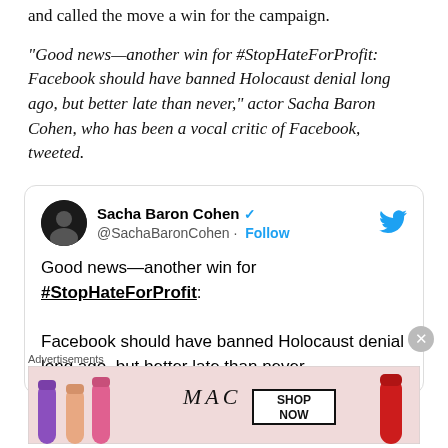and called the move a win for the campaign.
“Good news—another win for #StopHateForProfit: Facebook should have banned Holocaust denial long ago, but better late than never,” actor Sacha Baron Cohen, who has been a vocal critic of Facebook, tweeted.
[Figure (screenshot): Embedded tweet from @SachaBaronCohen with Twitter bird logo, blue verified checkmark, Follow button, and tweet text: 'Good news—another win for #StopHateForProfit: Facebook should have banned Holocaust denial long ago, but better late than never.']
Advertisements
[Figure (photo): MAC Cosmetics advertisement banner showing lipsticks in purple, peach, and pink on the left, MAC logo in the center, SHOP NOW button in a box, and red lipstick on the right.]